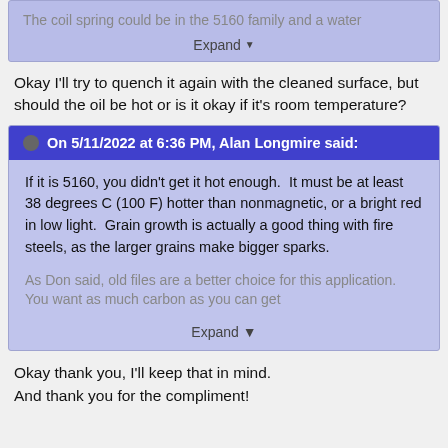The coil spring could be in the 5160 family and a water
Expand
Okay I'll try to quench it again with the cleaned surface, but should the oil be hot or is it okay if it's room temperature?
On 5/11/2022 at 6:36 PM, Alan Longmire said:
If it is 5160, you didn't get it hot enough.  It must be at least 38 degrees C (100 F) hotter than nonmagnetic, or a bright red in low light.  Grain growth is actually a good thing with fire steels, as the larger grains make bigger sparks.
As Don said, old files are a better choice for this application.  You want as much carbon as you can get
Expand
Okay thank you, I'll keep that in mind.
And thank you for the compliment!